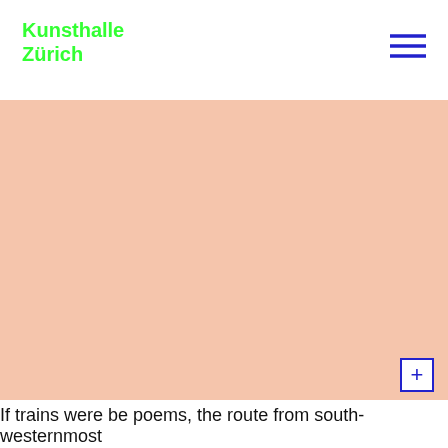Kunsthalle Zürich
[Figure (photo): Large salmon/peach colored image area, background of an artwork or exhibition photograph]
If trains were be poems, the route from south-westernmost